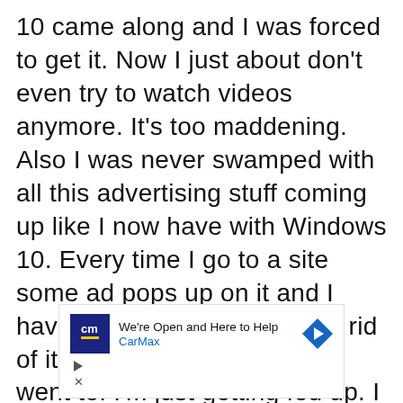10 came along and I was forced to get it. Now I just about don't even try to watch videos anymore. It's too maddening. Also I was never swamped with all this advertising stuff coming up like I now have with Windows 10. Every time I go to a site some ad pops up on it and I have to figure out how to get rid of it so I can get to the site I went to. I'm just getting fed up. I long for the good old days. Any suggestions
[Figure (infographic): CarMax advertisement banner: logo with 'cm' text and yellow bar, headline 'We're Open and Here to Help', brand name 'CarMax', blue navigation arrow icon, play button icon, and close (X) button]